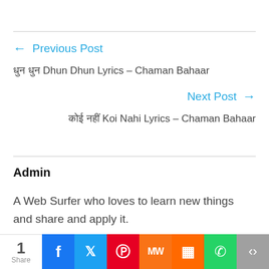← Previous Post
धुन धुन Dhun Dhun Lyrics – Chaman Bahaar
Next Post →
कोई नहीं Koi Nahi Lyrics – Chaman Bahaar
Admin
A Web Surfer who loves to learn new things and share and apply it.
1 Share | Facebook | Twitter | Pinterest | MixedWrench | Mix | WhatsApp | Share